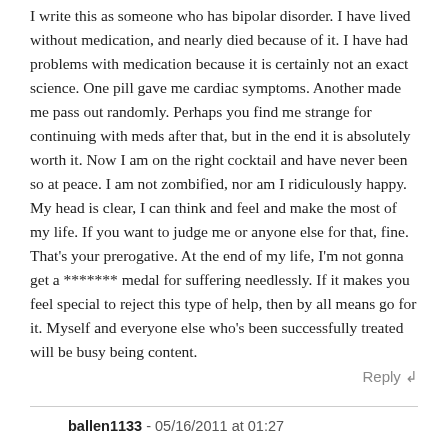I write this as someone who has bipolar disorder. I have lived without medication, and nearly died because of it. I have had problems with medication because it is certainly not an exact science. One pill gave me cardiac symptoms. Another made me pass out randomly. Perhaps you find me strange for continuing with meds after that, but in the end it is absolutely worth it. Now I am on the right cocktail and have never been so at peace. I am not zombified, nor am I ridiculously happy. My head is clear, I can think and feel and make the most of my life. If you want to judge me or anyone else for that, fine. That's your prerogative. At the end of my life, I'm not gonna get a ******* medal for suffering needlessly. If it makes you feel special to reject this type of help, then by all means go for it. Myself and everyone else who's been successfully treated will be busy being content.
Reply
ballen1133 - 05/16/2011 at 01:27